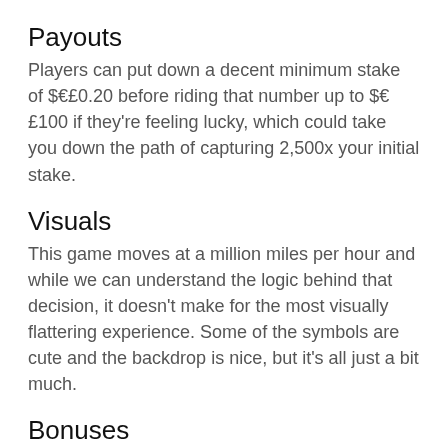Payouts
Players can put down a decent minimum stake of $€£0.20 before riding that number up to $€£100 if they're feeling lucky, which could take you down the path of capturing 2,500x your initial stake.
Visuals
This game moves at a million miles per hour and while we can understand the logic behind that decision, it doesn't make for the most visually flattering experience. Some of the symbols are cute and the backdrop is nice, but it's all just a bit much.
Bonuses
The wild symbol in this one is the robot which will also act as the scatter.
The robot can trigger the Robot Revolution Free